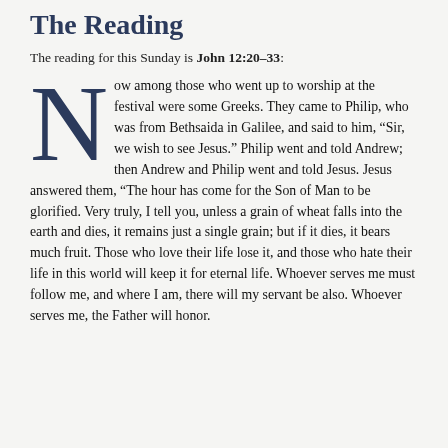The Reading
The reading for this Sunday is John 12:20-33:
Now among those who went up to worship at the festival were some Greeks. They came to Philip, who was from Bethsaida in Galilee, and said to him, “Sir, we wish to see Jesus.” Philip went and told Andrew; then Andrew and Philip went and told Jesus. Jesus answered them, “The hour has come for the Son of Man to be glorified. Very truly, I tell you, unless a grain of wheat falls into the earth and dies, it remains just a single grain; but if it dies, it bears much fruit. Those who love their life lose it, and those who hate their life in this world will keep it for eternal life. Whoever serves me must follow me, and where I am, there will my servant be also. Whoever serves me, the Father will honor.